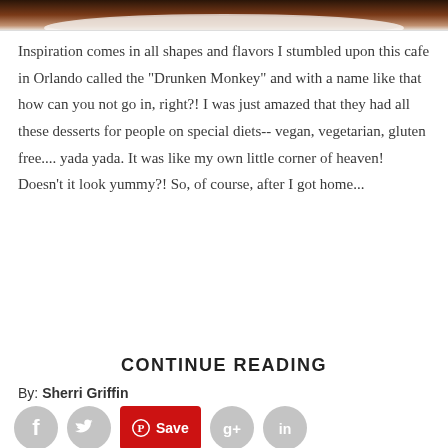[Figure (photo): Partial view of a dark chocolate dessert in a white bowl, cropped at top of page]
Inspiration comes in all shapes and flavors I stumbled upon this cafe in Orlando called the "Drunken Monkey" and with a name like that how can you not go in, right?! I was just amazed that they had all these desserts for people on special diets-- vegan, vegetarian, gluten free.... yada yada. It was like my own little corner of heaven! Doesn't it look yummy?! So, of course, after I got home...
CONTINUE READING
By: Sherri Griffin
[Figure (infographic): Social sharing icons: Facebook (grey circle), Twitter (grey circle), Pinterest Save (red button), Google+ (grey circle), LinkedIn (grey circle)]
DIY LEAVE IN CONDITIONER & MOISTURIZER